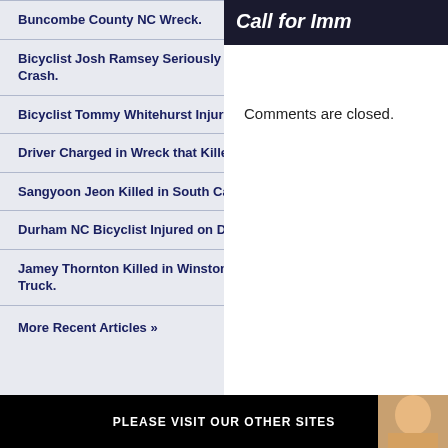[Figure (other): Dark banner with italic white text 'Call for Imm' (truncated advertisement banner)]
Buncombe County NC Wreck.
Bicyclist Josh Ramsey Seriously Injured in Winston-Salem Hit-and-Run Crash.
Bicyclist Tommy Whitehurst Injured in Elizabeth City, NC Accident.
Driver Charged in Wreck that Killed North Carolina Bicyclist William Dillon.
Sangyoon Jeon Killed in South Carolina Bicycle Crash With Delivery Van.
Durham NC Bicyclist Injured on Duke Street.
Jamey Thornton Killed in Winston-Salem NC Bicycle Wreck With Dump Truck.
More Recent Articles »
Comments are closed.
PLEASE VISIT OUR OTHER SITES